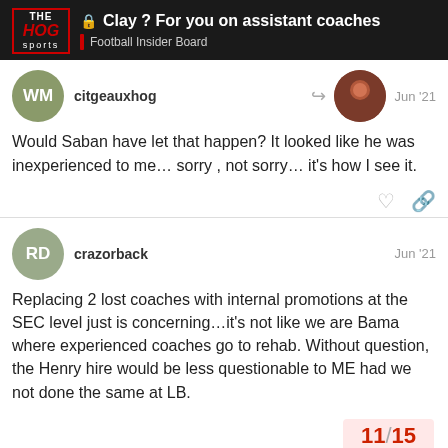Clay ? For you on assistant coaches | Football Insider Board
citgeauxhog — Jun '21
Would Saban have let that happen? It looked like he was inexperienced to me… sorry , not sorry… it's how I see it.
crazorback — Jun '21
Replacing 2 lost coaches with internal promotions at the SEC level just is concerning…it's not like we are Bama where experienced coaches go to rehab. Without question, the Henry hire would be less questionable to ME had we not done the same at LB.
11 / 15